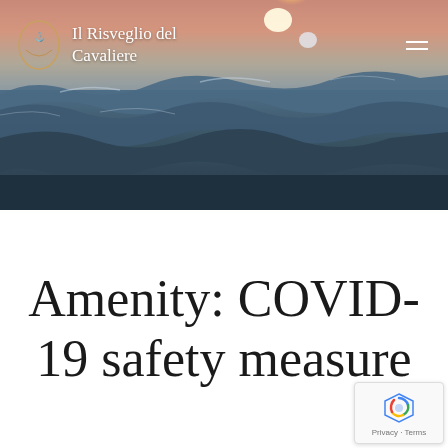[Figure (photo): Ocean wave scene with sunset sky in background — pink and orange hues near horizon, blue-grey water with waves in foreground]
Il Risveglio del Cavaliere
Amenity: COVID-19 safety measure